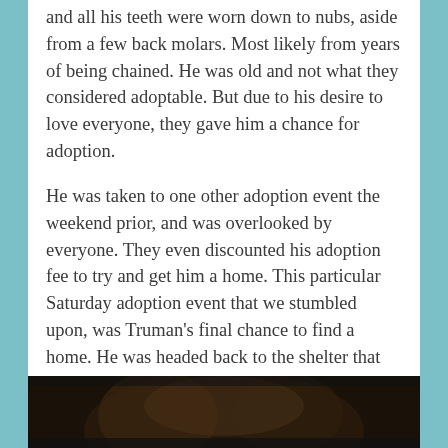and all his teeth were worn down to nubs, aside from a few back molars. Most likely from years of being chained. He was old and not what they considered adoptable. But due to his desire to love everyone, they gave him a chance for adoption.
He was taken to one other adoption event the weekend prior, and was overlooked by everyone. They even discounted his adoption fee to try and get him a home. This particular Saturday adoption event that we stumbled upon, was Truman's final chance to find a home. He was headed back to the shelter that evening to be euthanized if he wasn't adopted. So we paid his discounted adoption fee and took him home.
[Figure (photo): Dark photograph showing a partial view of an animal, likely a dog, at the bottom of the page]